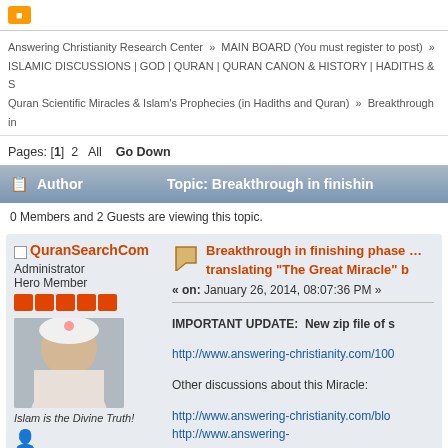Answering Christianity Research Center » MAIN BOARD (You must register to post) » ISLAMIC DISCUSSIONS | GOD | QURAN | QURAN CANON & HISTORY | HADITHS & S... Quran Scientific Miracles & Islam's Prophecies (in Hadiths and Quran) » Breakthrough in...
Pages: [1] 2  All   Go Down
Author   Topic: Breakthrough in finishing...
0 Members and 2 Guests are viewing this topic.
QuranSearchCom
Administrator
Hero Member
Islam is the Divine Truth!
Breakthrough in finishing phase ... translating "The Great Miracle" b...
« on: January 26, 2014, 08:07:36 PM »
IMPORTANT UPDATE:  New zip file of s...
http://www.answering-christianity.com/100...
Other discussions about this Miracle:
http://www.answering-christianity.com/blo...
http://www.answering-christianity.com/blog/index.php/topic,1163...
http://www.answering-christianity.com/blo...